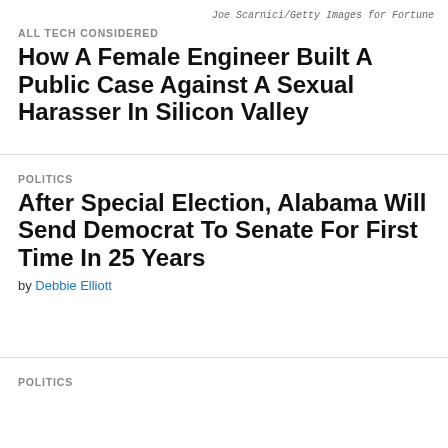Joe Scarnici/Getty Images for Fortune
ALL TECH CONSIDERED
How A Female Engineer Built A Public Case Against A Sexual Harasser In Silicon Valley
POLITICS
After Special Election, Alabama Will Send Democrat To Senate For First Time In 25 Years
by Debbie Elliott
POLITICS